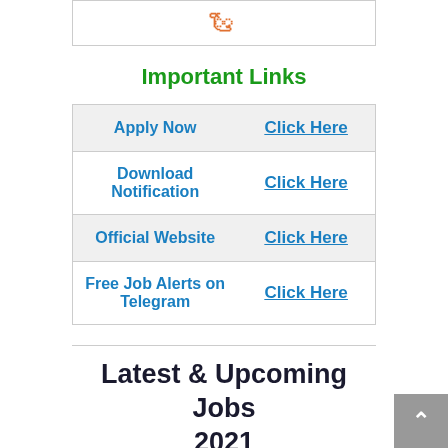[Figure (other): Partial orange stylized text/logo at top of page inside a bordered box]
Important Links
|  |  |
| --- | --- |
| Apply Now | Click Here |
| Download Notification | Click Here |
| Official Website | Click Here |
| Free Job Alerts on Telegram | Click Here |
Latest & Upcoming Jobs 2021